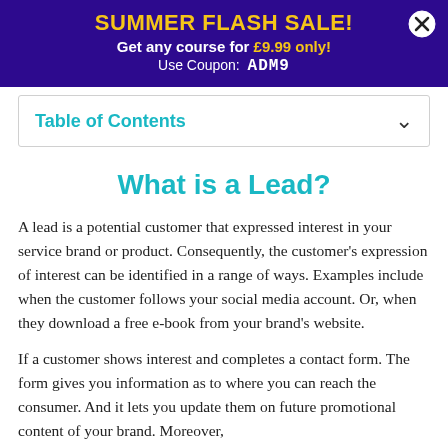SUMMER FLASH SALE! Get any course for £9.99 only! Use Coupon: ADM9
Table of Contents
What is a Lead?
A lead is a potential customer that expressed interest in your service brand or product. Consequently, the customer's expression of interest can be identified in a range of ways. Examples include when the customer follows your social media account. Or, when they download a free e-book from your brand's website.
If a customer shows interest and completes a contact form. The form gives you information as to where you can reach the consumer. And it lets you update them on future promotional content of your brand. Moreover,